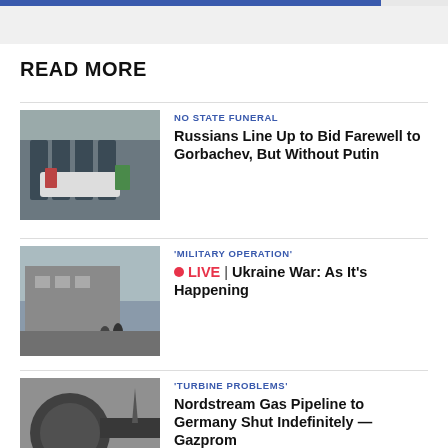READ MORE
[Figure (photo): Military honor guard soldiers standing at attention near a flag-draped coffin with floral wreaths]
NO STATE FUNERAL
Russians Line Up to Bid Farewell to Gorbachev, But Without Putin
[Figure (photo): Two people standing near a large industrial building, possibly a nuclear power plant]
'MILITARY OPERATION'
LIVE | Ukraine War: As It's Happening
[Figure (photo): Close-up of large industrial machinery or pipeline equipment against a gray sky]
'TURBINE PROBLEMS'
Nordstream Gas Pipeline to Germany Shut Indefinitely — Gazprom
[Figure (photo): Young child holding a Russian flag among other children]
CURRICULUM ALTERATIONS
Russian Schoolchildren Return to Classrooms Changed by War